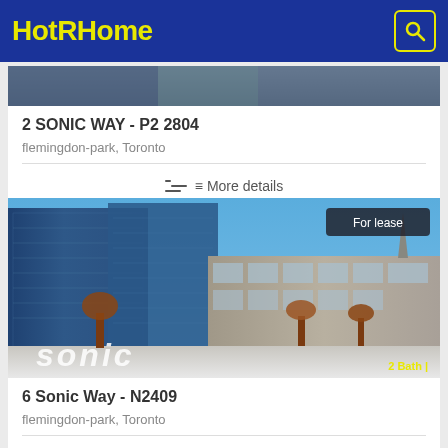HotRHome
2 SONIC WAY - P2 2804
flemingdon-park, Toronto
More details
[Figure (photo): Aerial/street photo of modern high-rise condominium towers in Sonic Way area, Toronto, with blue glass buildings and winter scenery. Badge: For lease. Label: 2 Bath]
6 Sonic Way - N2409
flemingdon-park, Toronto
More details